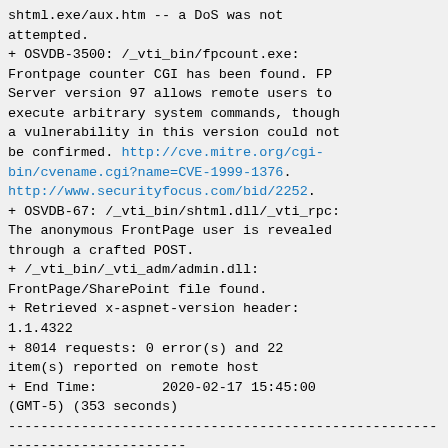shtml.exe/aux.htm -- a DoS was not attempted.
+ OSVDB-3500: /_vti_bin/fpcount.exe: Frontpage counter CGI has been found. FP Server version 97 allows remote users to execute arbitrary system commands, though a vulnerability in this version could not be confirmed. http://cve.mitre.org/cgi-bin/cvename.cgi?name=CVE-1999-1376. http://www.securityfocus.com/bid/2252.
+ OSVDB-67: /_vti_bin/shtml.dll/_vti_rpc: The anonymous FrontPage user is revealed through a crafted POST.
+ /_vti_bin/_vti_adm/admin.dll: FrontPage/SharePoint file found.
+ Retrieved x-aspnet-version header: 1.1.4322
+ 8014 requests: 0 error(s) and 22 item(s) reported on remote host
+ End Time:        2020-02-17 15:45:00 (GMT-5) (353 seconds)
---------------------------------------------------------------------------
+ 1 host(s) tested